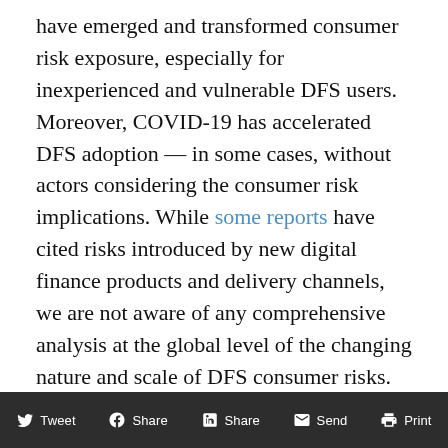have emerged and transformed consumer risk exposure, especially for inexperienced and vulnerable DFS users. Moreover, COVID-19 has accelerated DFS adoption — in some cases, without actors considering the consumer risk implications. While some reports have cited risks introduced by new digital finance products and delivery channels, we are not aware of any comprehensive analysis at the global level of the changing nature and scale of DFS consumer risks. Against this backdrop, CGAP launched a global study to understand the evolving nature and scale of DFS consumer risks since 2015.
Tweet  Share  Share  Send  Print